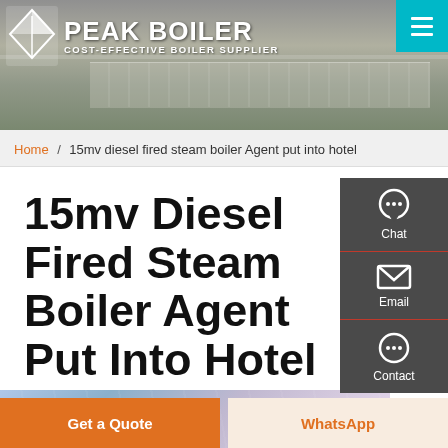[Figure (screenshot): Peak Boiler website header with logo, tagline 'COST-EFFECTIVE BOILER SUPPLIER', background factory image, and teal menu button]
Home / 15mv diesel fired steam boiler Agent put into hotel
15mv Diesel Fired Steam Boiler Agent Put Into Hotel
[Figure (screenshot): Sidebar with Chat, Email, and Contact icons on dark grey background]
[Figure (photo): Partial view of building/hotel image at bottom]
Get a Quote
WhatsApp